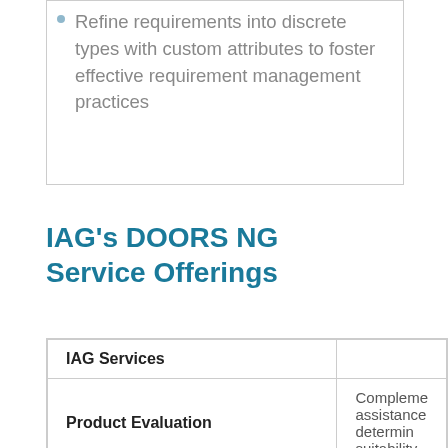Refine requirements into discrete types with custom attributes to foster effective requirement management practices
IAG's DOORS NG Service Offerings
| IAG Services |  |
| --- | --- |
| Product Evaluation | Compleme­ assistance determin­ing suitability |